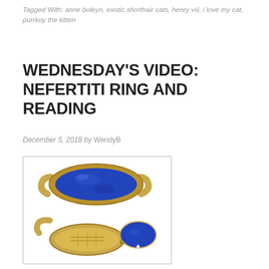Tagged With: anne boleyn, exotic shorthair cats, henry viii, i love my cat, purrkoy the kitten
WEDNESDAY'S VIDEO: NEFERTITI RING AND READING
December 5, 2018 by WendyB
[Figure (photo): Two views of a gold ring with a large oval lapis lazuli blue stone. The top image shows the ring from above with the stone set in yellow gold. The bottom image shows the ring open like a locket, revealing an interior compartment, with the blue stone flipped open to the side.]